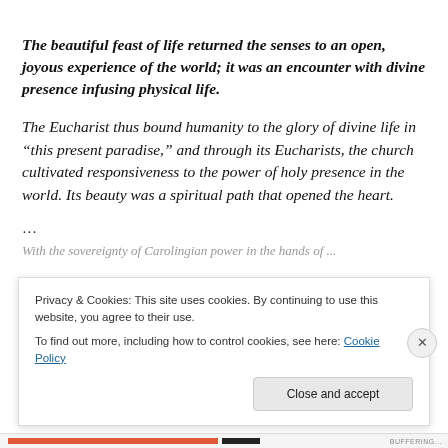The beautiful feast of life returned the senses to an open, joyous experience of the world; it was an encounter with divine presence infusing physical life. The Eucharist thus bound humanity to the glory of divine life in “this present paradise,” and through its Eucharists, the church cultivated responsiveness to the power of holy presence in the world. Its beauty was a spiritual path that opened the heart.
...
[partially visible cut-off line]
Privacy & Cookies: This site uses cookies. By continuing to use this website, you agree to their use.
To find out more, including how to control cookies, see here: Cookie Policy
Close and accept